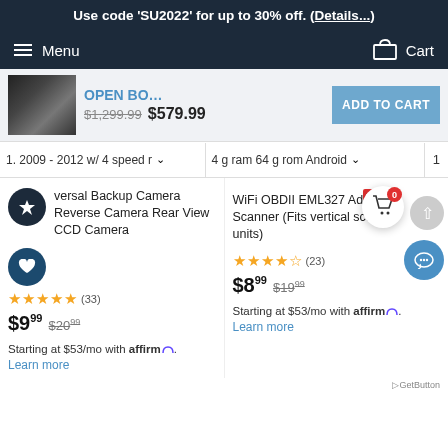Use code 'SU2022' for up to 30% off. (Details...)
Menu  Cart
OPEN BO... $1,299.99 $579.99  ADD TO CART
1. 2009 - 2012 w/ 4 speed r   4 g ram 64 g rom Android   1
versal Backup Camera Reverse Camera Rear View CCD Camera
WiFi OBDII EML327 Adapter Scanner (Fits vertical screen units)
★★★★★ (33)  $9.99  $20.99
★★★★★ (23)  $8.99  $19.99
Starting at $53/mo with affirm. Learn more
Starting at $53/mo with affirm. Learn more